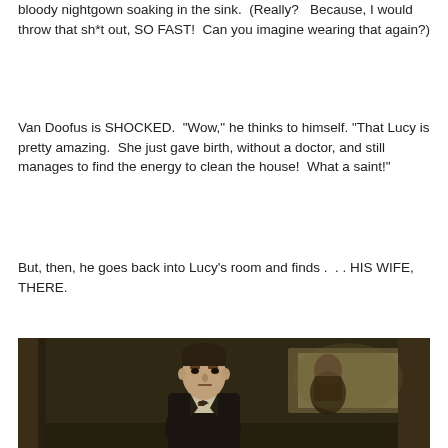bloody nightgown soaking in the sink.  (Really?   Because, I would throw that sh*t out, SO FAST!  Can you imagine wearing that again?)
Van Doofus is SHOCKED.  "Wow," he thinks to himself.  "That Lucy is pretty amazing.  She just gave birth, without a doctor, and still manages to find the energy to clean the house!  What a saint!"
But, then, he goes back into Lucy's room and finds .  . .  HIS WIFE, THERE.
[Figure (photo): A man in a dark suit and bow tie standing in a dimly lit doorway, with another figure visible in the background.]